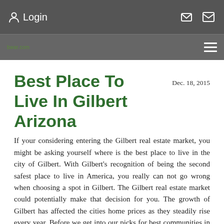Login
Best Place To Live In Gilbert Arizona
Dec. 18, 2015
If your considering entering the Gilbert real estate market, you might be asking yourself where is the best place to live in the city of Gilbert.  With Gilbert's recognition of being the second safest place to live in America, you really can not go wrong when choosing a spot in Gilbert.  The Gilbert real estate market could potentially make that decision for you.  The growth of Gilbert has affected the cities home prices as they steadily rise every year.  Before we get into our picks for best communities in Gilbert, lets first consider a few things.  Gilbert is a true suburb,